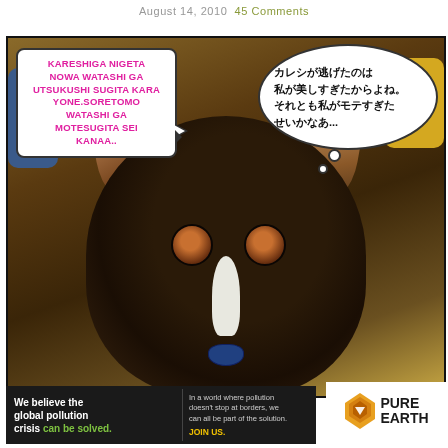August 14, 2010   45 Comments
[Figure (photo): Comic-style photo of a Boston Terrier dog with two speech bubbles. Left bubble (pink text): 'KARESHIGA NIGETA NOWA WATASHI GA UTSUKUSHI SUGITA KARA YONE.SORETOMO WATASHI GA MOTESUGITA SEI KANAA..' Right thought bubble (Japanese text): 'カレシが逃げたのは私が美しすぎたからよね。それとも私がモテすぎたせいかなあ…']
[Figure (infographic): Pure Earth advertisement banner. Left dark section: 'We believe the global pollution crisis can be solved.' Center text: 'In a world where pollution doesn't stop at borders, we can all be part of the solution. JOIN US.' Right section: Pure Earth logo with diamond/earth icon.]